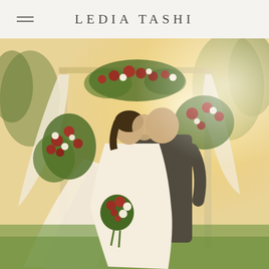LEDIA TASHI
[Figure (photo): Wedding photo of a bride and groom kissing under a floral arch decorated with red and white flowers and draped white fabric. The bride is wearing a white lace mermaid dress and holding a red and white bouquet. The groom is wearing a dark suit. The setting is an outdoor garden ceremony with warm golden sunlight.]